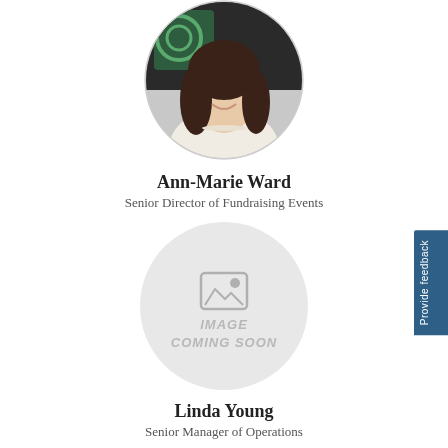[Figure (photo): Circular headshot photo of Ann-Marie Ward, a woman with long dark hair, smiling, wearing a white blazer and pearl necklace, with a dark background behind her]
Ann-Marie Ward
Senior Director of Fundraising Events
[Figure (photo): Circular placeholder image with a grey background showing a small image icon and the text IMAGE COMING SOON]
Linda Young
Senior Manager of Operations